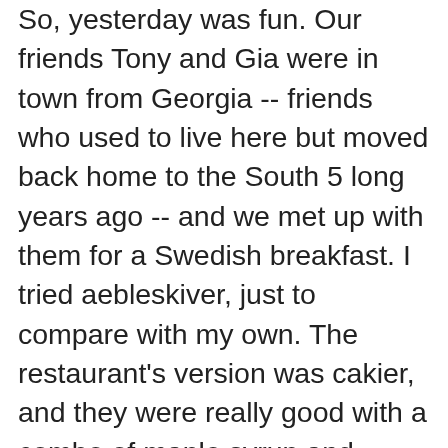So, yesterday was fun. Our friends Tony and Gia were in town from Georgia -- friends who used to live here but moved back home to the South 5 long years ago -- and we met up with them for a Swedish breakfast. I tried aebleskiver, just to compare with my own. The restaurant's version was cakier, and they were really good with a combo of maple syrup and lemon curd. Yum! There was also, of course, the requisite lingonberry jam. After, we putzed around the Pearl District a little, then met up with some other Georgia friends of theirs at Henry's Brewery next door to Powell's. One of those friends is a drummer with the Cirque du Soleil show that is currently in town. How cool is that? Of course, I asked him a trezillion questions about working for Cirque, and was sad to learn the amazing Russian acrobats make a sad weeny little wage -- less that the price of an admission ticket per nite!!!! How much does that suck? Also, that it takes 72 big Mac trucks to haul that tent from place to place. 72!!! I could have asked him a lot more questions, but I think I was pesky enough.
After that, it was typhoid shots for us, then home for a nap before going over to our friend Chary's house for pizza and canorogue and cake and to watch Raiders of the Lost Ark on